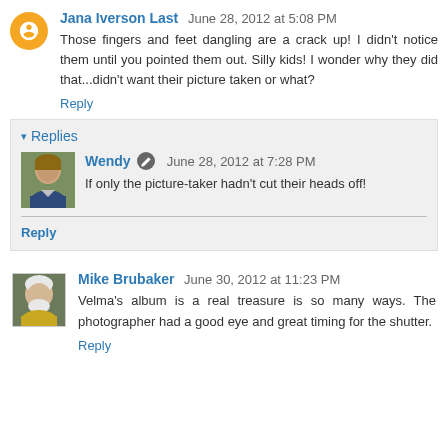Jana Iverson Last June 28, 2012 at 5:08 PM
Those fingers and feet dangling are a crack up! I didn't notice them until you pointed them out. Silly kids! I wonder why they did that...didn't want their picture taken or what?
Reply
Replies
Wendy June 28, 2012 at 7:28 PM
If only the picture-taker hadn't cut their heads off!
Reply
Mike Brubaker June 30, 2012 at 11:23 PM
Velma's album is a real treasure is so many ways. The photographer had a good eye and great timing for the shutter.
Reply